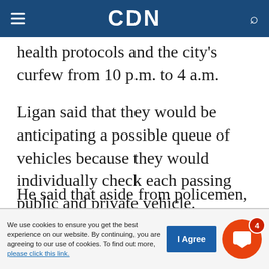CDN
health protocols and the city's curfew from 10 p.m. to 4 a.m.
Ligan said that they would be anticipating a possible queue of vehicles because they would individually check each passing public and private vehicle.
He said that aside from policemen, representatives from the city's Prevention, Restoration, Order, Beautification, and Enhancement (PROBE) would also help man the checkpoints.
We use cookies to ensure you get the best experience on our website. By continuing, you are agreeing to our use of cookies. To find out more, please click this link.